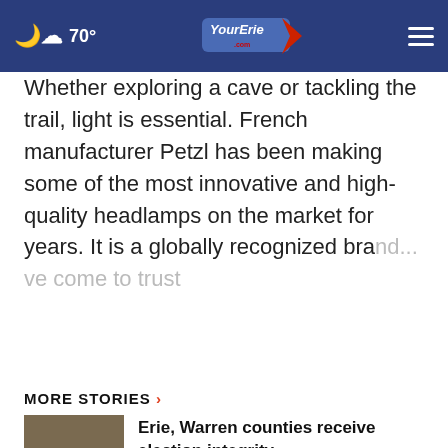70° YourErie.com
Whether exploring a cave or tackling the trail, light is essential. French manufacturer Petzl has been making some of the most innovative and high-quality headlamps on the market for years. It is a globally recognized brand... have come to trust
CONTINUE READING
MORE STORIES ›
Erie, Warren counties receive election integrity ...
PA to distribute nearly $500M to local governments ...